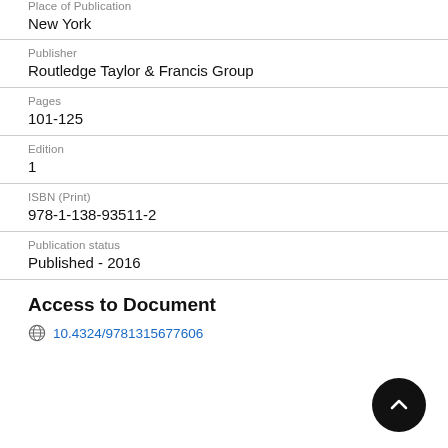Place of Publication
New York
Publisher
Routledge Taylor & Francis Group
Pages
101-125
Edition
1
ISBN (Print)
978-1-138-93511-2
Publication status
Published - 2016
Access to Document
10.4324/9781315677606